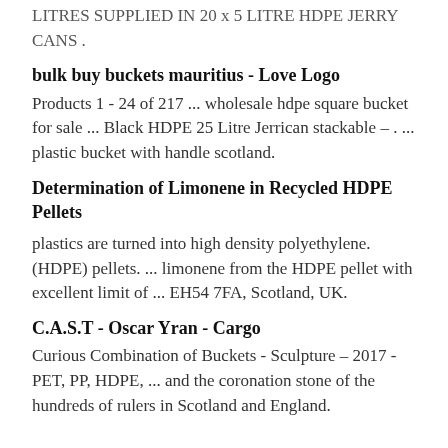LITRES SUPPLIED IN 20 x 5 LITRE HDPE JERRY CANS .
bulk buy buckets mauritius - Love Logo
Products 1 - 24 of 217 ... wholesale hdpe square bucket for sale ... Black HDPE 25 Litre Jerrican stackable – . ... plastic bucket with handle scotland.
Determination of Limonene in Recycled HDPE Pellets
plastics are turned into high density polyethylene. (HDPE) pellets. ... limonene from the HDPE pellet with excellent limit of ... EH54 7FA, Scotland, UK.
C.A.S.T - Oscar Yran - Cargo
Curious Combination of Buckets - Sculpture – 2017 - PET, PP, HDPE, ... and the coronation stone of the hundreds of rulers in Scotland and England.